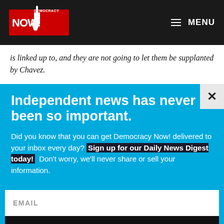Democracy Now! — MENU
is linked up to, and they are not going to let them be supplanted by Chavez.
Independent news has never been so important.
Did you know that you can get Democracy Now! delivered to your inbox every day? Sign up for our Daily News Digest today! Don't worry, we'll never share or sell your information.
EMAIL
SIGN UP!